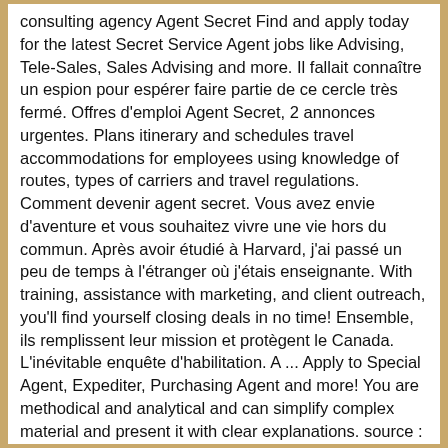consulting agency Agent Secret Find and apply today for the latest Secret Service Agent jobs like Advising, Tele-Sales, Sales Advising and more. Il fallait connaître un espion pour espérer faire partie de ce cercle très fermé. Offres d'emploi Agent Secret, 2 annonces urgentes. Plans itinerary and schedules travel accommodations for employees using knowledge of routes, types of carriers and travel regulations. Comment devenir agent secret. Vous avez envie d'aventure et vous souhaitez vivre une vie hors du commun. Après avoir étudié à Harvard, j'ai passé un peu de temps à l'étranger où j'étais enseignante. With training, assistance with marketing, and client outreach, you'll find yourself closing deals in no time! Ensemble, ils remplissent leur mission et protègent le Canada. L'inévitable enquête d'habilitation. A ... Apply to Special Agent, Expediter, Purchasing Agent and more! You are methodical and analytical and can simplify complex material and present it with clear explanations. source : TYT J'ai grandi en dehors de Washington D.C. J'ai toujours été fascinée par tout ce qui est relatif à l'espionnage. Plus de 100 spécialisations! There are over 1,090 secret agent careers waiting for you to apply! Des salaires concurrentiels et un ensemble d'avantages flexible. Les agents secrets sont partout autour de nous : dans les agences gouvernementales, dans les entreprises et dans les organisations privées où ils collectent des informations et font